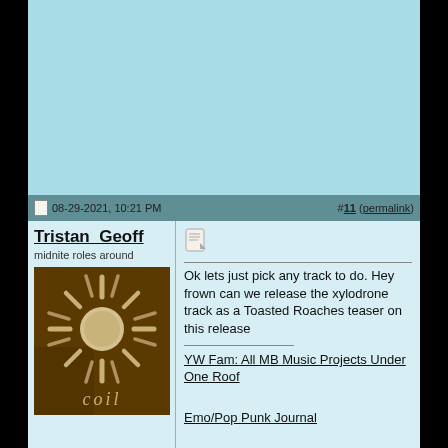08-29-2021, 10:21 PM  #11 (permalink)
Tristan_Geoff
midnite roles around
[Figure (logo): Album/band logo with sunburst graphic and text 'coil' on dark brown background]
Ok lets just pick any track to do. Hey frown can we release the xylodrone track as a Toasted Roaches teaser on this release
YW Fam: All MB Music Projects Under One Roof
Emo/Pop Punk Journal
Techno Journal